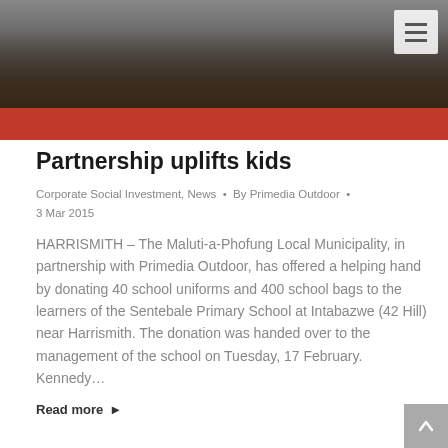[Figure (photo): Group of people standing in front of a red wall, photo taken outdoors]
Partnership uplifts kids
Corporate Social Investment, News · By Primedia Outdoor · 3 Mar 2015
HARRISMITH – The Maluti-a-Phofung Local Municipality, in partnership with Primedia Outdoor, has offered a helping hand by donating 40 school uniforms and 400 school bags to the learners of the Sentebale Primary School at Intabazwe (42 Hill) near Harrismith. The donation was handed over to the management of the school on Tuesday, 17 February. Kennedy…
Read more ▶